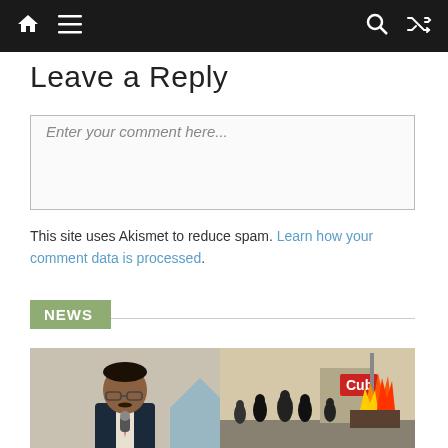Navigation bar with home, menu, search, and shuffle icons
Leave a Reply
[Figure (screenshot): Comment text input box with placeholder text 'Enter your comment here...']
This site uses Akismet to reduce spam. Learn how your comment data is processed.
NEWS
[Figure (photo): Two photos side by side: left shows a man in suit at a microphone, right shows a crowd scene with a building on fire and a Cub store sign visible]